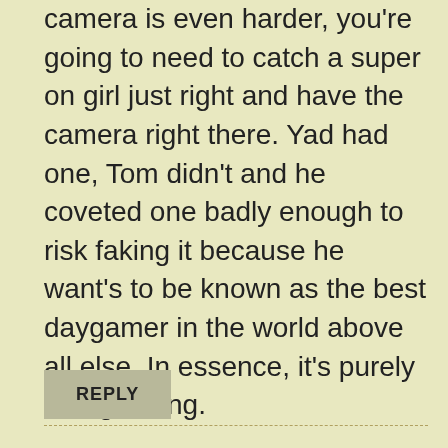camera is even harder, you're going to need to catch a super on girl just right and have the camera right there. Yad had one, Tom didn't and he coveted one badly enough to risk faking it because he want's to be known as the best daygamer in the world above all else. In essence, it's purely an ego thing.
REPLY